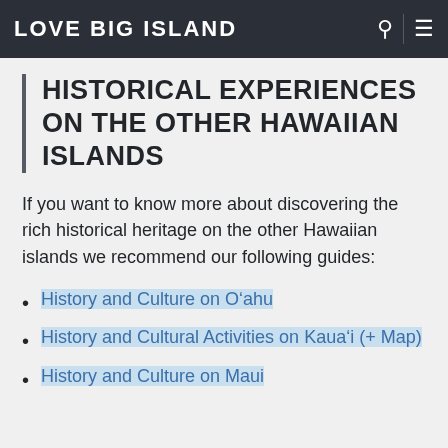LOVE BIG ISLAND
HISTORICAL EXPERIENCES ON THE OTHER HAWAIIAN ISLANDS
If you want to know more about discovering the rich historical heritage on the other Hawaiian islands we recommend our following guides:
History and Culture on O‘ahu
History and Cultural Activities on Kaua‘i (+ Map)
History and Culture on Maui